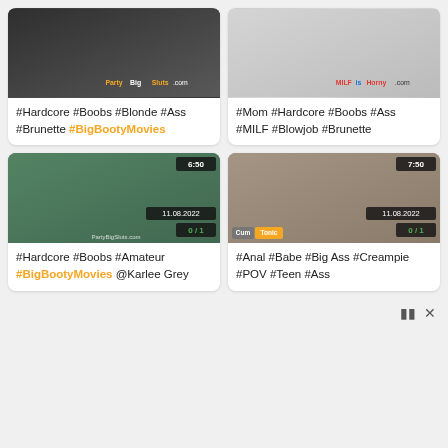[Figure (screenshot): Video thumbnail top-left: dark adult content thumbnail with PartyBigSluts.com watermark]
#Hardcore #Boobs #Blonde #Ass #Brunette #BigBootyMovies
[Figure (screenshot): Video thumbnail top-right: light-toned adult content thumbnail with MILFisHorny.com watermark]
#Mom #Hardcore #Boobs #Ass #MILF #Blowjob #Brunette
[Figure (screenshot): Video thumbnail bottom-left: teal background adult content, 6:50 duration, 11.08.2022 date, 0/1 count, PartyBigSluts.com watermark]
#Hardcore #Boobs #Amateur #BigBootyMovies @Karlee Grey
[Figure (screenshot): Video thumbnail bottom-right: beige/room background adult content, 7:50 duration, 11.08.2022 date, 0/1 count, CumTonic watermark]
#Anal #Babe #Big Ass #Creampie #POV #Teen #Ass